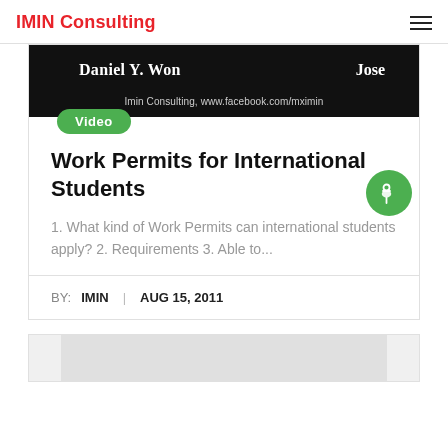IMIN Consulting
[Figure (screenshot): Black banner with text 'Daniel Y. Won' and 'Jose' and 'Imin Consulting, www.facebook.com/mximin' with a green 'Video' badge overlay]
Work Permits for International Students
1. What kind of Work Permits can international students apply? 2. Requirements 3. Able to...
BY: IMIN  |  AUG 15, 2011